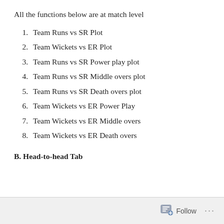All the functions below are at match level
Team Runs vs SR Plot
Team Wickets vs ER Plot
Team Runs vs SR Power play plot
Team Runs vs SR Middle overs plot
Team Runs vs SR Death overs plot
Team Wickets vs ER Power Play
Team Wickets vs ER Middle overs
Team Wickets vs ER Death overs
B. Head-to-head Tab
Follow